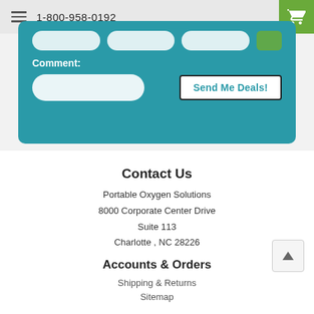1-800-958-0192
Contact Us
Portable Oxygen Solutions
8000 Corporate Center Drive
Suite 113
Charlotte , NC 28226
Accounts & Orders
Shipping & Returns
Sitemap
Quick Links
Portable Oxygen Concentrators